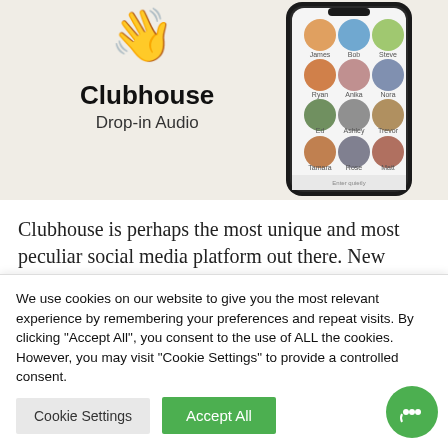[Figure (screenshot): Clubhouse app promotional image showing the Clubhouse logo (waving hand emoji), text 'Clubhouse Drop-in Audio', and a phone mockup displaying user profile pictures in a grid]
Clubhouse is perhaps the most unique and most peculiar social media platform out there. New users are only allowed to join
We use cookies on our website to give you the most relevant experience by remembering your preferences and repeat visits. By clicking "Accept All", you consent to the use of ALL the cookies. However, you may visit "Cookie Settings" to provide a controlled consent.